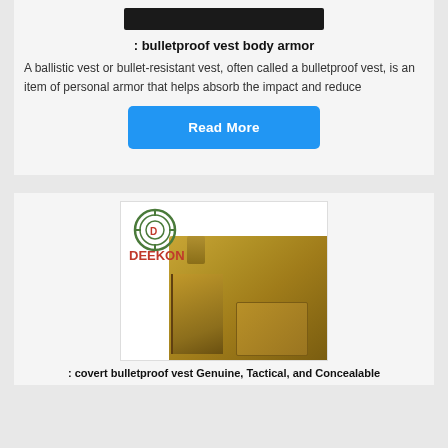[Figure (photo): Dark/black image at top of first card (partial, cropped)]
: bulletproof vest body armor
A ballistic vest or bullet-resistant vest, often called a bulletproof vest, is an item of personal armor that helps absorb the impact and reduce
Read More
[Figure (photo): Photo of a gold/tan bulletproof vest with DEEKON brand logo in upper left corner showing a circular target logo and red DEEKON text]
: covert bulletproof vest Genuine, Tactical, and Concealable